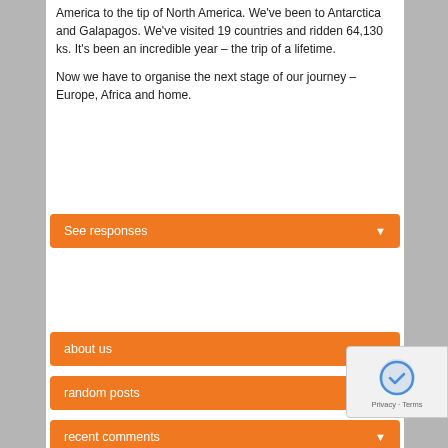America to the tip of North America. We've been to Antarctica and Galapagos. We've visited 19 countries and ridden 64,130 ks. It's been an incredible year – the trip of a lifetime.

Now we have to organise the next stage of our journey – Europe, Africa and home.
See responses
about us
random posts
recent comments
places we have visited
archives